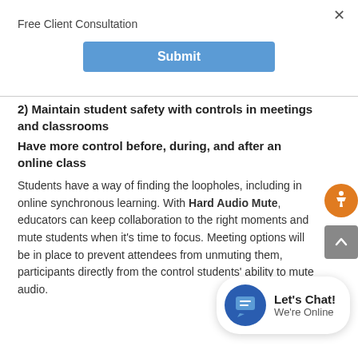Free Client Consultation
Submit
2) Maintain student safety with controls in meetings and classrooms
Have more control before, during, and after an online class
Students have a way of finding the loopholes, including in online synchronous learning. With Hard Audio Mute, educators can keep collaboration to the right moments and mute students when it's time to focus. Meeting options will be in place to prevent attendees from unmuting them, participants directly from the control students' ability to mute audio.